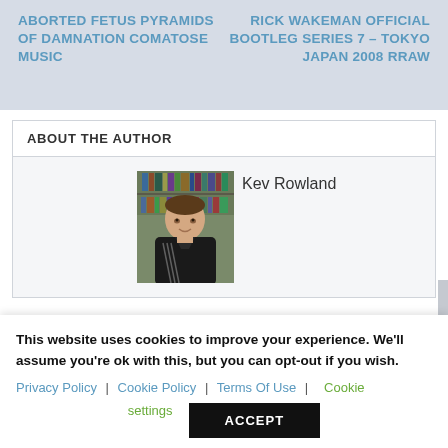ABORTED FETUS PYRAMIDS OF DAMNATION COMATOSE MUSIC
RICK WAKEMAN OFFICIAL BOOTLEG SERIES 7 – TOKYO JAPAN 2008 RRAW
ABOUT THE AUTHOR
Kev Rowland
[Figure (photo): Photo of Kev Rowland, a person wearing a black Adidas New Zealand rugby jersey, standing in front of a bookshelf.]
This website uses cookies to improve your experience. We'll assume you're ok with this, but you can opt-out if you wish.
Privacy Policy | Cookie Policy | Terms Of Use | Cookie settings
ACCEPT